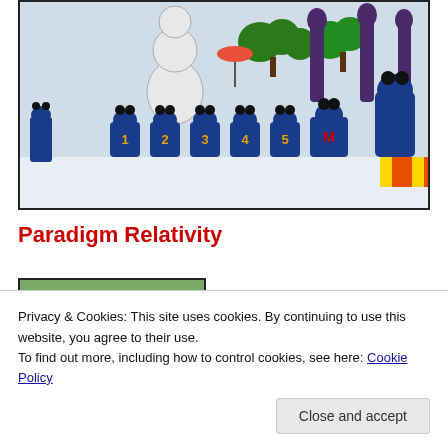[Figure (illustration): Cartoon scene with animated characters resembling Mickey Mouse-like figures in blue outfits, marching or parading. Numbers 1,2,3,4,5 and letter M visible on floats. Trees and snowman-like figure in background. Colorful animated style.]
Paradigm Relativity
[Figure (photo): Partial photo showing a person, partially cut off, with green background.]
Privacy & Cookies: This site uses cookies. By continuing to use this website, you agree to their use.
To find out more, including how to control cookies, see here: Cookie Policy
Close and accept